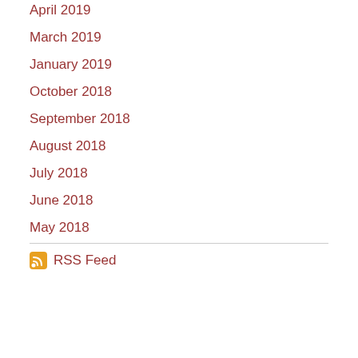April 2019
March 2019
January 2019
October 2018
September 2018
August 2018
July 2018
June 2018
May 2018
RSS Feed